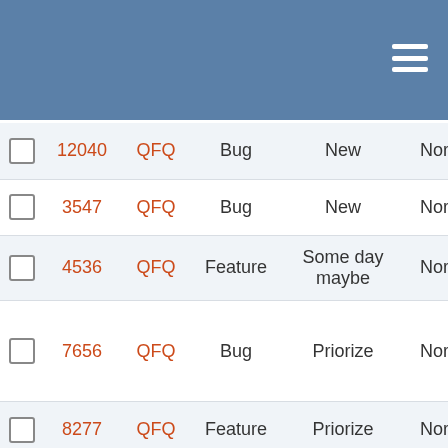|  | ID | Project | Type | Status | Priority | Description |
| --- | --- | --- | --- | --- | --- | --- |
|  | 12040 | QFQ | Bug | New | Normal | F z |
|  | 3547 | QFQ | Bug | New | Normal | F v |
|  | 4536 | QFQ | Feature | Some day maybe | Normal | F c l |
|  | 7656 | QFQ | Bug | Priorize | Normal | F 'v a r |
|  | 8277 | QFQ | Feature | Priorize | Normal | f |
|  | 10013 | QFQ | Feature | Some day maybe | Normal | F c |
|  | 5021 | QFQ | Bug | Some day maybe | Normal | F s i c i |